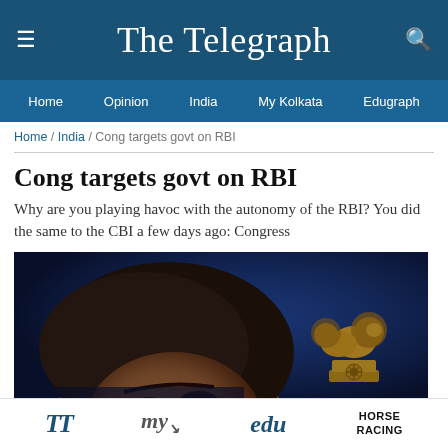The Telegraph
Home / Opinion / India / My Kolkata / Edugraph
Home / India / Cong targets govt on RBI
Cong targets govt on RBI
Why are you playing havoc with the autonomy of the RBI? You did the same to the CBI a few days ago: Congress
[Figure (photo): Close-up photo of a man's face with dark hair against a dark blue background, with a bronze lion statue (Ashoka emblem) visible to the upper right]
TT / my / edu / HORSE RACING